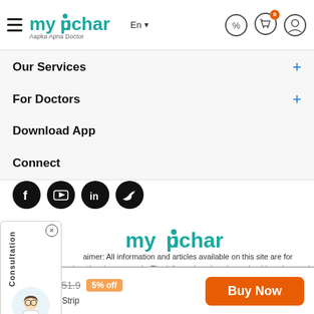[Figure (logo): myUpchar logo with hamburger menu, language selector, and header icons]
Our Services
For Doctors
Download App
Connect
[Figure (illustration): Social media icons: Facebook, YouTube, LinkedIn, Twitter]
[Figure (illustration): Consultation widget with doctor avatar]
[Figure (logo): myUpchar footer logo]
aimer: All information and articles available on this site are for educational rposes only. The information given here should not be used without any ert advice for the diagnosis or treatment of any health related problem or ase. Always seek the advice of a qualified doctor for medical examination and treatment.
₹49.3  ₹51.9  5% off
10 Tablet in 1 Strip
Buy Now